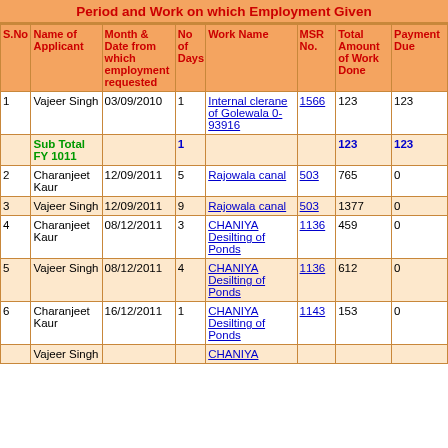Period and Work on which Employment Given
| S.No | Name of Applicant | Month & Date from which employment requested | No of Days | Work Name | MSR No. | Total Amount of Work Done | Payment Due |
| --- | --- | --- | --- | --- | --- | --- | --- |
| 1 | Vajeer Singh | 03/09/2010 | 1 | Internal clerane of Golewala 0-93916 | 1566 | 123 | 123 |
|  | Sub Total FY 1011 |  | 1 |  |  | 123 | 123 |
| 2 | Charanjeet Kaur | 12/09/2011 | 5 | Rajowala canal | 503 | 765 | 0 |
| 3 | Vajeer Singh | 12/09/2011 | 9 | Rajowala canal | 503 | 1377 | 0 |
| 4 | Charanjeet Kaur | 08/12/2011 | 3 | CHANIYA Desilting of Ponds | 1136 | 459 | 0 |
| 5 | Vajeer Singh | 08/12/2011 | 4 | CHANIYA Desilting of Ponds | 1136 | 612 | 0 |
| 6 | Charanjeet Kaur | 16/12/2011 | 1 | CHANIYA Desilting of Ponds | 1143 | 153 | 0 |
|  | Vajeer Singh |  |  | CHANIYA ... |  |  |  |